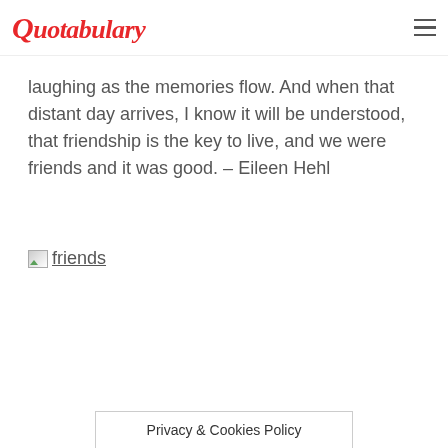Quotabulary
laughing as the memories flow. And when that distant day arrives, I know it will be understood, that friendship is the key to live, and we were friends and it was good. – Eileen Hehl
[Figure (photo): Broken image placeholder labeled 'friends']
Privacy & Cookies Policy